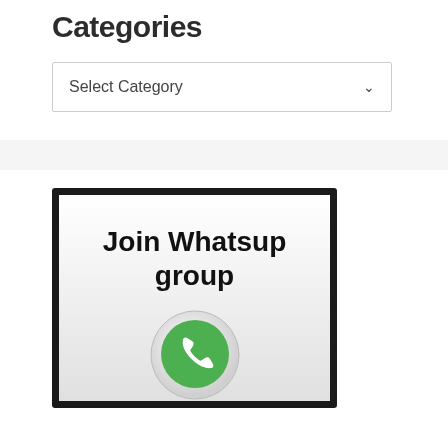Categories
[Figure (screenshot): A dropdown/select box with the placeholder text 'Select Category' and a chevron arrow on the right]
[Figure (infographic): A bordered card with a gradient background (white to light gray) with bold black text 'Join Whatsup group' and a WhatsApp green phone icon circle below]